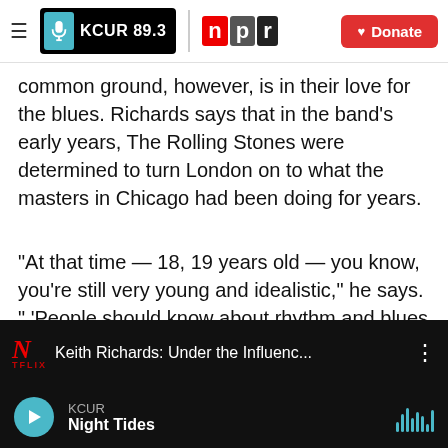KCUR 89.3 | npr | Donate
common ground, however, is in their love for the blues. Richards says that in the band's early years, The Rolling Stones were determined to turn London on to what the masters in Chicago had been doing for years.
"At that time — 18, 19 years old — you know, you're still very young and idealistic," he says. " 'People should know about rhythm and blues and Chicago blues, and we'll do our best to give you our version of that.' And it bloody well happened."
[Figure (screenshot): Netflix video thumbnail showing Keith Richards: Under the Influenc...]
KCUR | Night Tides